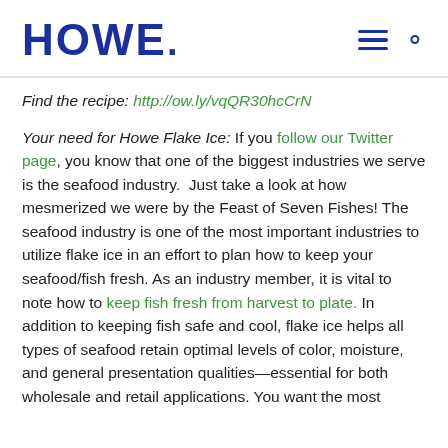HOWE.
Find the recipe: http://ow.ly/vqQR30hcCrN
Your need for Howe Flake Ice: If you follow our Twitter page, you know that one of the biggest industries we serve is the seafood industry.  Just take a look at how mesmerized we were by the Feast of Seven Fishes! The seafood industry is one of the most important industries to utilize flake ice in an effort to plan how to keep your seafood/fish fresh. As an industry member, it is vital to note how to keep fish fresh from harvest to plate. In addition to keeping fish safe and cool, flake ice helps all types of seafood retain optimal levels of color, moisture, and general presentation qualities—essential for both wholesale and retail applications. You want the most